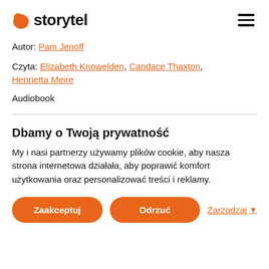storytel
Autor: Pam Jenoff
Czyta: Elizabeth Knowelden, Candace Thaxton, Henrietta Meire
Audiobook
Dbamy o Twoją prywatność
My i nasi partnerzy używamy plików cookie, aby nasza strona internetowa działała, aby poprawić komfort użytkowania oraz personalizować treści i reklamy.
Zaakceptuj | Odrzuć | Zarządzaj